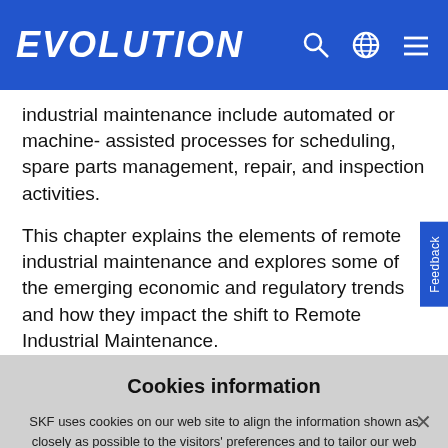EVOLUTION
industrial maintenance include automated or machine- assisted processes for scheduling, spare parts management, repair, and inspection activities.
This chapter explains the elements of remote industrial maintenance and explores some of the emerging economic and regulatory trends and how they impact the shift to Remote Industrial Maintenance.
Cookies information
SKF uses cookies on our web site to align the information shown as closely as possible to the visitors' preferences and to tailor our web site user experience in general. See information about Cookies.
I accept